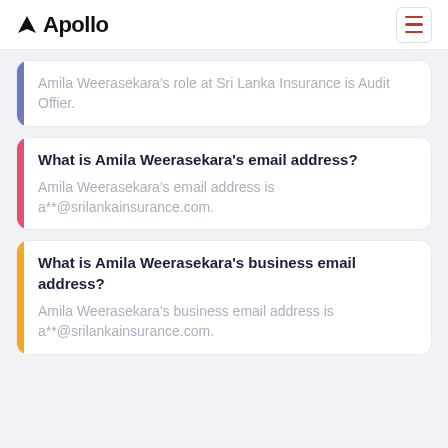Apollo
Amila Weerasekara's role at Sri Lanka Insurance is Audit Offier.
What is Amila Weerasekara's email address?
Amila Weerasekara's email address is a**@srilankainsurance.com.
What is Amila Weerasekara's business email address?
Amila Weerasekara's business email address is a**@srilankainsurance.com.